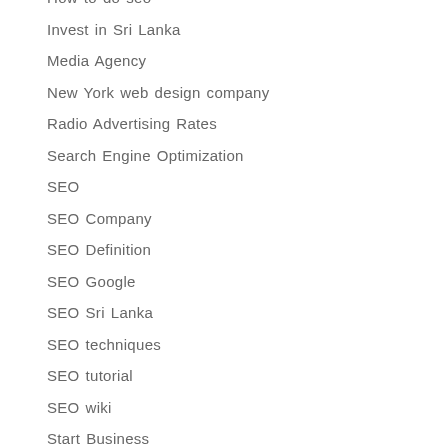How to do seo
Invest in Sri Lanka
Media Agency
New York web design company
Radio Advertising Rates
Search Engine Optimization
SEO
SEO Company
SEO Definition
SEO Google
SEO Sri Lanka
SEO techniques
SEO tutorial
SEO wiki
Start Business
Top 10 website design companies
TV Advertising Rates